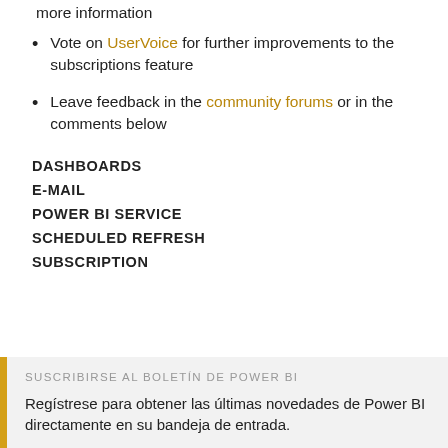more information
Vote on UserVoice for further improvements to the subscriptions feature
Leave feedback in the community forums or in the comments below
DASHBOARDS
E-MAIL
POWER BI SERVICE
SCHEDULED REFRESH
SUBSCRIPTION
SUSCRIBIRSE AL BOLETÍN DE POWER BI
Regístrese para obtener las últimas novedades de Power BI directamente en su bandeja de entrada.